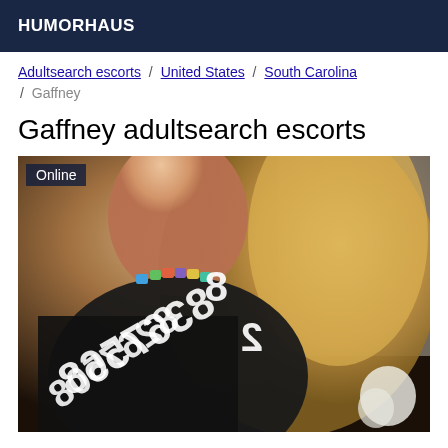HUMORHAUS
Adultsearch escorts / United States / South Carolina / Gaffney
Gaffney adultsearch escorts
[Figure (photo): Photo of a woman with long blonde hair wearing a black outfit and colorful necklace, with a mirrored phone number overlay. An 'Online' badge appears in the top-left corner.]